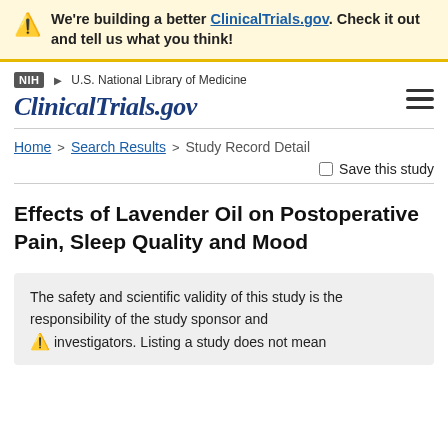We're building a better ClinicalTrials.gov. Check it out and tell us what you think!
[Figure (screenshot): NIH ClinicalTrials.gov website navigation header with NIH badge and hamburger menu]
Home > Search Results > Study Record Detail
Save this study
Effects of Lavender Oil on Postoperative Pain, Sleep Quality and Mood
The safety and scientific validity of this study is the responsibility of the study sponsor and investigators. Listing a study does not mean